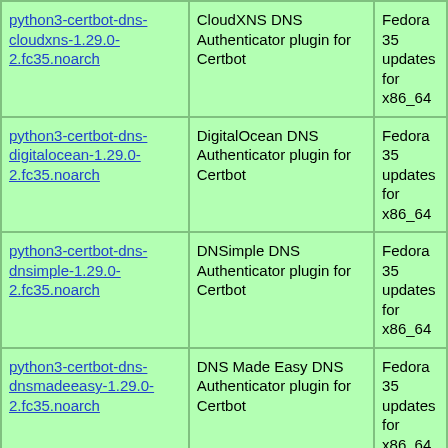| Package | Description | Repo |
| --- | --- | --- |
| python3-certbot-dns-cloudxns-1.29.0-2.fc35.noarch | CloudXNS DNS Authenticator plugin for Certbot | Fedora 35 updates for x86_64 |
| python3-certbot-dns-digitalocean-1.29.0-2.fc35.noarch | DigitalOcean DNS Authenticator plugin for Certbot | Fedora 35 updates for x86_64 |
| python3-certbot-dns-dnsimple-1.29.0-2.fc35.noarch | DNSimple DNS Authenticator plugin for Certbot | Fedora 35 updates for x86_64 |
| python3-certbot-dns-dnsmadeeasy-1.29.0-2.fc35.noarch | DNS Made Easy DNS Authenticator plugin for Certbot | Fedora 35 updates for x86_64 |
| python3-certbot-dns-gehirn-1.29.0-2.fc35.noarch | Gehirn Infrastructure Service DNS Authenticator plugin for Certbot | Fedora 35 updates for x86_64 |